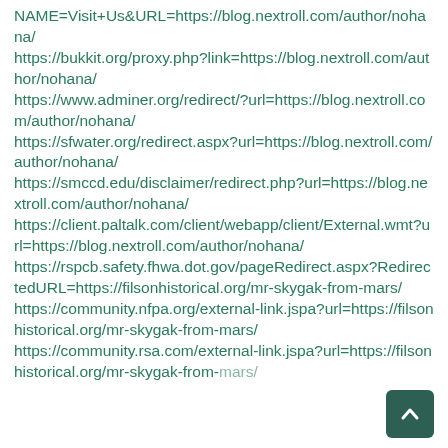NAME=Visit+Us&URL=https://blog.nextroll.com/author/nohana/ https://bukkit.org/proxy.php?link=https://blog.nextroll.com/author/nohana/ https://www.adminer.org/redirect/?url=https://blog.nextroll.com/author/nohana/ https://sfwater.org/redirect.aspx?url=https://blog.nextroll.com/author/nohana/ https://smccd.edu/disclaimer/redirect.php?url=https://blog.nextroll.com/author/nohana/ https://client.paltalk.com/client/webapp/client/External.wmt?url=https://blog.nextroll.com/author/nohana/ https://rspcb.safety.fhwa.dot.gov/pageRedirect.aspx?RedirectedURL=https://filsonhistorical.org/mr-skygak-from-mars/ https://community.nfpa.org/external-link.jspa?url=https://filsonhistorical.org/mr-skygak-from-mars/ https://community.rsa.com/external-link.jspa?url=https://filsonhistorical.org/mr-skygak-from-mars/